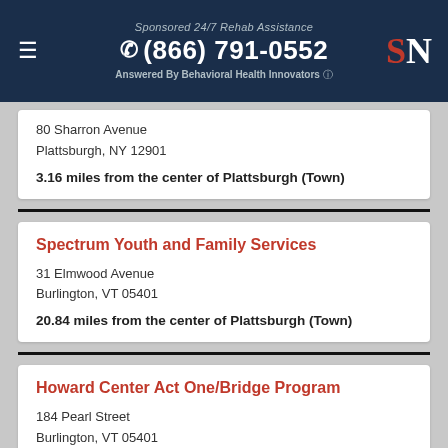Sponsored 24/7 Rehab Assistance | (866) 791-0552 | Answered By Behavioral Health Innovators
80 Sharron Avenue
Plattsburgh, NY 12901
3.16 miles from the center of Plattsburgh (Town)
Spectrum Youth and Family Services
31 Elmwood Avenue
Burlington, VT 05401
20.84 miles from the center of Plattsburgh (Town)
Howard Center Act One/Bridge Program
184 Pearl Street
Burlington, VT 05401